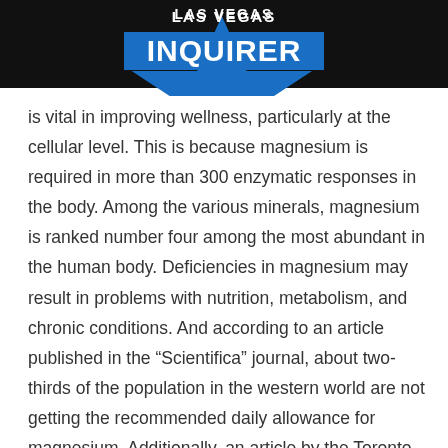LAS VEGAS INQUIRER
is vital in improving wellness, particularly at the cellular level. This is because magnesium is required in more than 300 enzymatic responses in the body. Among the various minerals, magnesium is ranked number four among the most abundant in the human body. Deficiencies in magnesium may result in problems with nutrition, metabolism, and chronic conditions. And according to an article published in the “Scientifica” journal, about two-thirds of the population in the western world are not getting the recommended daily allowance for magnesium. Additionally, an article by the Toronto functional medicine clinic on magnesium facts was also recently published.